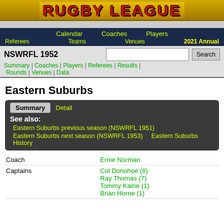RUGBY LEAGUE
Calendar  Coaches  Players
Referees  Teams  Venues  2021 Annual
NSWRFL 1952  [Search]
Summary | Coaches | Players | Referees | Results | Rounds | Venues | Data
Eastern Suburbs
| Summary  Detail |
| See also: |
| Eastern Suburbs previous season (NSWRFL 1951) |
| Eastern Suburbs next season (NSWRFL 1953)    Eastern Suburbs History |
|  |  |
| --- | --- |
| Coach | Ernie Norman |
| Captains | Col Donohoe (8)
Ray Thomas (7)
Tommy Kaine (1)
Brian Horne (1) |